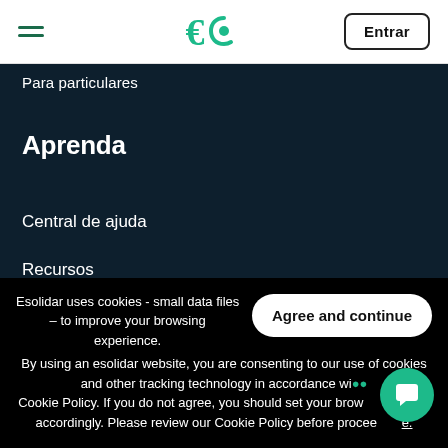≡  e  Entrar
Para particulares
Aprenda
Central de ajuda
Recursos
Blog
Esolidar uses cookies - small data files – to improve your browsing experience. By using an esolidar website, you are consenting to our use of cookies and other tracking technology in accordance with our Cookie Policy. If you do not agree, you should set your browser settings accordingly. Please review our Cookie Policy before proceeding.
Agree and continue